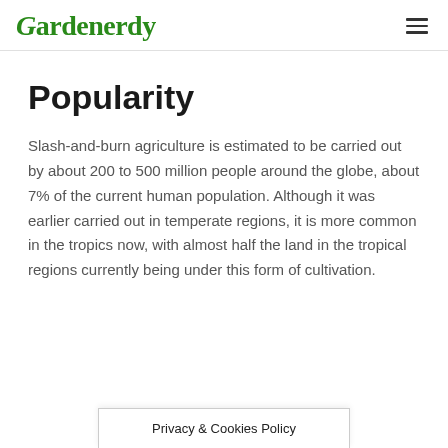Gardenerdy
Popularity
Slash-and-burn agriculture is estimated to be carried out by about 200 to 500 million people around the globe, about 7% of the current human population. Although it was earlier carried out in temperate regions, it is more common in the tropics now, with almost half the land in the tropical regions currently being under this form of cultivation.
Privacy & Cookies Policy